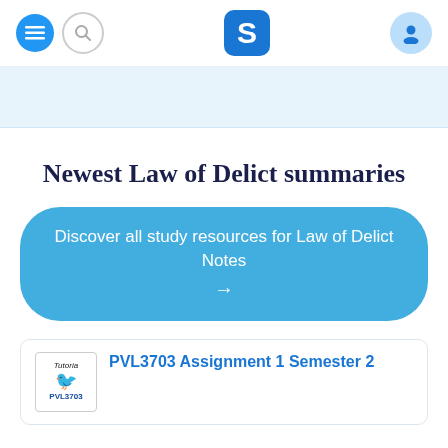[Figure (screenshot): Navigation bar with menu button, search button, Stuvia 'S' logo, and user profile icon]
[Figure (other): Light blue banner strip below navigation]
Newest Law of Delict summaries
Discover all study resources for Law of Delict Notes →
PVL3703 Assignment 1 Semester 2